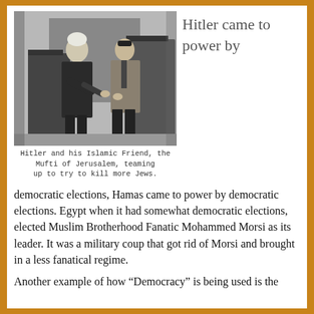[Figure (photo): Black and white historical photograph of Hitler and the Mufti of Jerusalem seated and facing each other in conversation]
Hitler came to power by
Hitler and his Islamic Friend, the Mufti of Jerusalem, teaming up to try to kill more Jews.
democratic elections, Hamas came to power by democratic elections. Egypt when it had somewhat democratic elections, elected Muslim Brotherhood Fanatic Mohammed Morsi as its leader. It was a military coup that got rid of Morsi and brought in a less fanatical regime.
Another example of how “Democracy” is being used is the